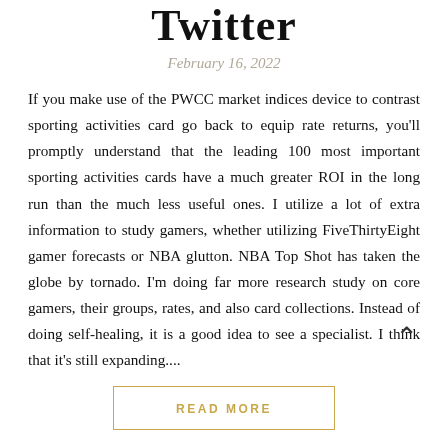Twitter
February 16, 2022
If you make use of the PWCC market indices device to contrast sporting activities card go back to equip rate returns, you'll promptly understand that the leading 100 most important sporting activities cards have a much greater ROI in the long run than the much less useful ones. I utilize a lot of extra information to study gamers, whether utilizing FiveThirtyEight gamer forecasts or NBA glutton. NBA Top Shot has taken the globe by tornado. I'm doing far more research study on core gamers, their groups, rates, and also card collections. Instead of doing self-healing, it is a good idea to see a specialist. I think that it's still expanding....
READ MORE